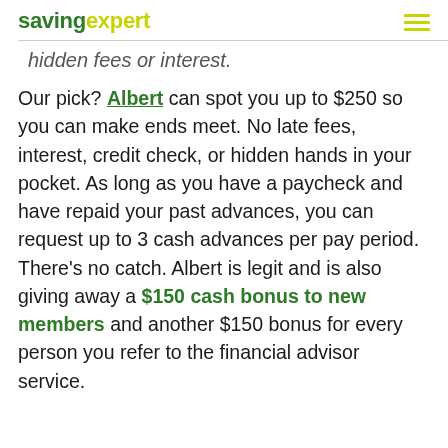savingexpert
hidden fees or interest.
Our pick? Albert can spot you up to $250 so you can make ends meet. No late fees, interest, credit check, or hidden hands in your pocket. As long as you have a paycheck and have repaid your past advances, you can request up to 3 cash advances per pay period. There’s no catch. Albert is legit and is also giving away a $150 cash bonus to new members and another $150 bonus for every person you refer to the financial advisor service.